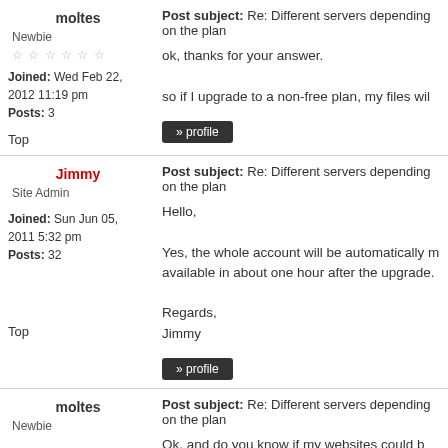moltes
Post subject: Re: Different servers depending on the plan
Newbie
ok, thanks for your answer.
so if I upgrade to a non-free plan, my files wil
Joined: Wed Feb 22, 2012 11:19 pm
Posts: 3
Top
Jimmy
Post subject: Re: Different servers depending on the plan
Site Admin
Hello,
Yes, the whole account will be automatically m available in about one hour after the upgrade.
Regards,
Jimmy
Joined: Sun Jun 05, 2011 5:32 pm
Posts: 32
Top
moltes
Post subject: Re: Different servers depending on the plan
Newbie
Ok, and do you know if my websites could b